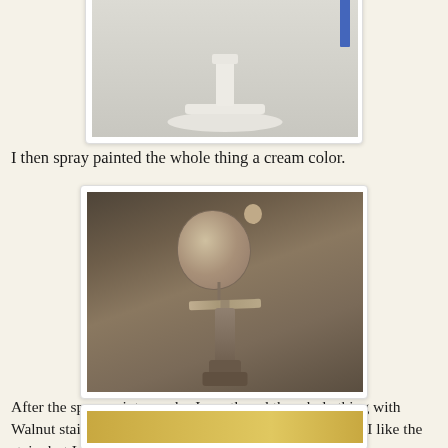[Figure (photo): A white cream-painted candlestick or lamp base on a white surface, with a blue object visible at top right corner. Photo shown partially at top of page.]
I then spray painted the whole thing a cream color.
[Figure (photo): A small decorative bird figurine perched on a cross-shaped stand, covered in walnut stain/mottled brown texture, photographed against a dark taupe background.]
After the spray paint was dry I smothered the whole thing with Walnut stain and wiped it off until I got my desired look. I like the stain, but I really need to invest in some glaze...
[Figure (photo): Partial view of another photo at the bottom of the page showing a golden/yellow toned object, mostly cut off.]